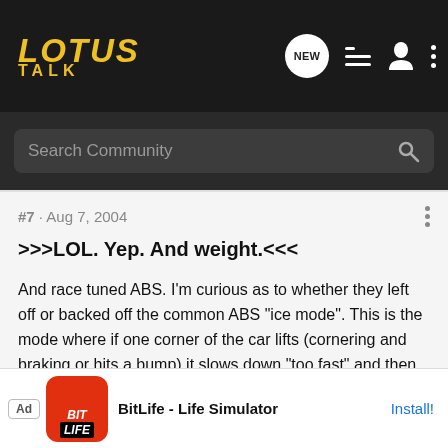LOTUS TALK — Search Community
#7 · Aug 7, 2004
>>>LOL. Yep. And weight.<<<
And race tuned ABS. I'm curious as to whether they left off or backed off the common ABS "ice mode". This is the mode where if one corner of the car lifts (cornering and braking or hits a bump) it slows down "too fast" and then the ABS brain decides you are on ice so it backs off the braking on the other three corners. My old E30 M3 does this on bumpy surfaces. Some FWD cars do it when an inside rear tire lifts or gets light. Only cure is to brake differently to avoid the ice mode, or quickly lift and reapply when it occurs. Until I learned this, I'd occasionally panic braked for awhile. Blew a f
[Figure (other): BitLife - Life Simulator advertisement banner with red app icon and Install button]